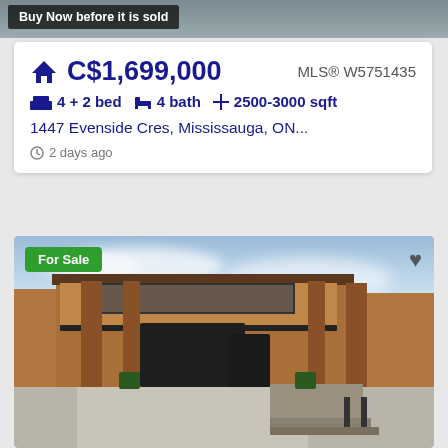[Figure (photo): Top portion of a real estate property photo with snow/grey background]
Buy Now before it is sold
C$1,699,000
MLS® W5751435
4 + 2 bed   4 bath   2500-3000 sqft
1447 Evenside Cres, Mississauga, ON...
2 days ago
[Figure (photo): Exterior photo of a two-storey brick house in Mississauga with garage, balcony, and front stairs. For Sale badge in top-left corner.]